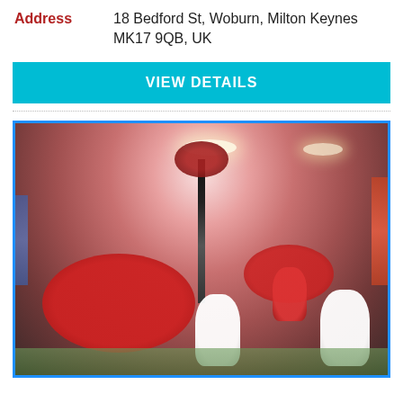Address	18 Bedford St, Woburn, Milton Keynes MK17 9QB, UK
VIEW DETAILS
[Figure (photo): Interior of an event banquet hall decorated with red tablecloths, white chair covers, red chair covers, tall floral centerpieces with red flowers and dark branches, round tables set for a formal dinner, with coloured lighting.]